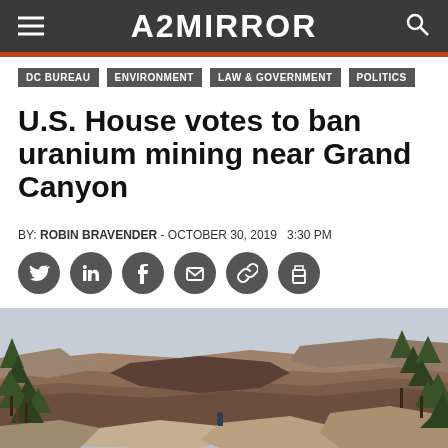AZ MIRROR
DC BUREAU
ENVIRONMENT
LAW & GOVERNMENT
POLITICS
U.S. House votes to ban uranium mining near Grand Canyon
BY: ROBIN BRAVENDER - OCTOBER 30, 2019   3:30 PM
[Figure (photo): A person stands on a rocky overlook at the Grand Canyon, with dramatic canyon walls, layered rock formations, and pine trees visible in the foreground and background.]